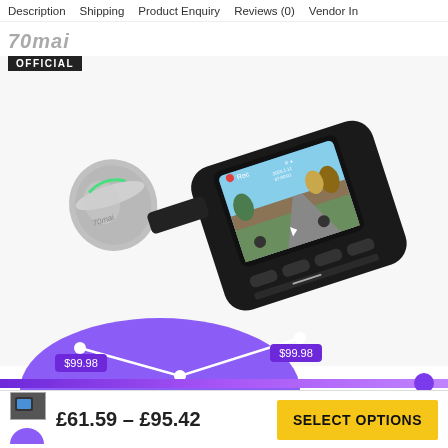Description   Shipping   Product Enquiry   Reviews (0)   Vendor In
[Figure (logo): 70mai OFFICIAL logo with grey italic brand name and black badge]
[Figure (photo): 70mai Pro Plus dash camera product photo showing black compact dash cam with cylindrical GPS mount and display screen showing road scene]
[Figure (line-chart): Purple price history chart showing price points of $99.98 and $99.98 with V-shape line on purple semicircle background]
£61.59 – £95.42
SELECT OPTIONS